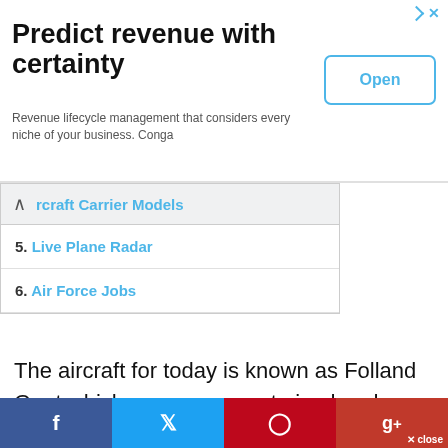[Figure (screenshot): Advertisement banner: 'Predict revenue with certainty' with Open button, Conga ad]
Aircraft Carrier Models
5. Live Plane Radar
6. Air Force Jobs
The aircraft for today is known as Folland Gnat which was a compact-sized and swept-wing subsonic fighter aircraft that was designed and created by the company named Folland Aircraft for the British Royal Air Force. The Folland Gnat was designed with a vision of creating affordable and lightweight fighter aircraft in the competition of the massive
[Figure (screenshot): Social share bar with Facebook, Twitter, Pinterest, Google+ and close button]